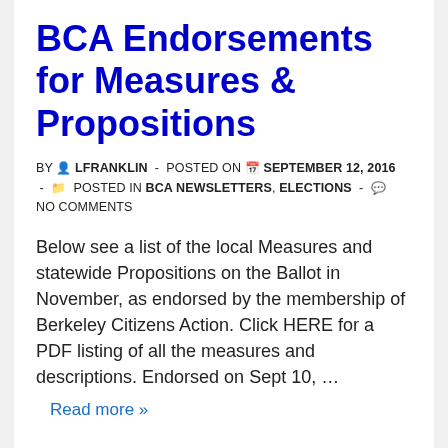BCA Endorsements for Measures & Propositions
BY  LFRANKLIN  -  POSTED ON  SEPTEMBER 12, 2016  -   POSTED IN BCA NEWSLETTERS, ELECTIONS  -   NO COMMENTS
Below see a list of the local Measures and statewide Propositions on the Ballot in November, as endorsed by the membership of Berkeley Citizens Action. Click HERE for a PDF listing of all the measures and descriptions. Endorsed on Sept 10, …
Read more »